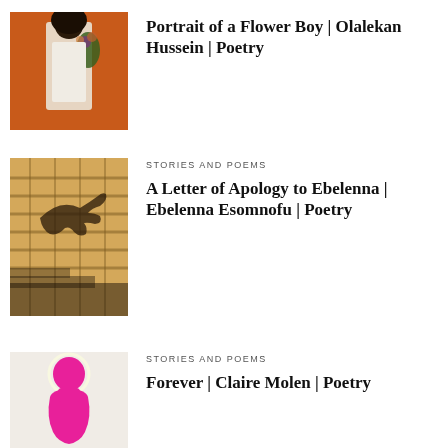[Figure (photo): Young person in white clothing viewed from behind, holding flowers, against an orange background]
Portrait of a Flower Boy | Olalekan Hussein | Poetry
[Figure (photo): Shadow of hands on a yellow gridded wall with stairs]
STORIES AND POEMS
A Letter of Apology to Ebelenna | Ebelenna Esomnofu | Poetry
[Figure (photo): Pink silhouette of a human figure on a light background]
STORIES AND POEMS
Forever | Claire Molen | Poetry